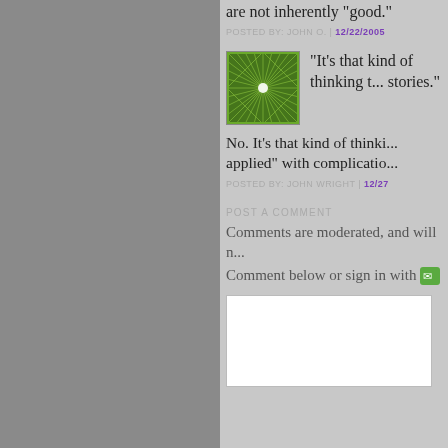are not inherently "good."
POSTED BY: JOHN O. | 12/22/2005
[Figure (illustration): Green geometric mandala/star pattern avatar image]
"It's that kind of thinking t... stories."
No. It's that kind of thinki... applied" with complicatio...
POSTED BY: JOHN WRIGHT | 12/27
POST A COMMENT
Comments are moderated, and will n...
Comment below or sign in with [icon]